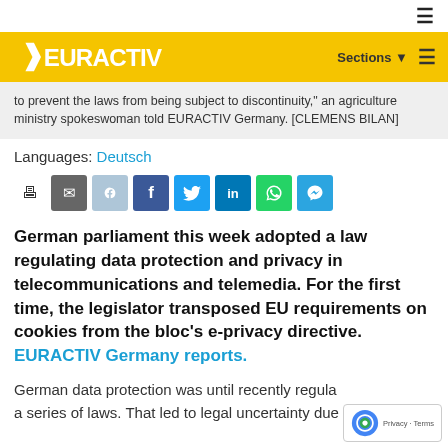[Figure (logo): EURACTIV logo on yellow navigation bar with Sections menu]
to prevent the laws from being subject to discontinuity," an agriculture ministry spokeswoman told EURACTIV Germany. [CLEMENS BILAN]
Languages: Deutsch
[Figure (infographic): Social sharing buttons: print, email, reddit, facebook, twitter, linkedin, whatsapp, telegram]
German parliament this week adopted a law regulating data protection and privacy in telecommunications and telemedia. For the first time, the legislator transposed EU requirements on cookies from the bloc's e-privacy directive. EURACTIV Germany reports.
German data protection was until recently regulated by a series of laws. That led to legal uncertainty due to